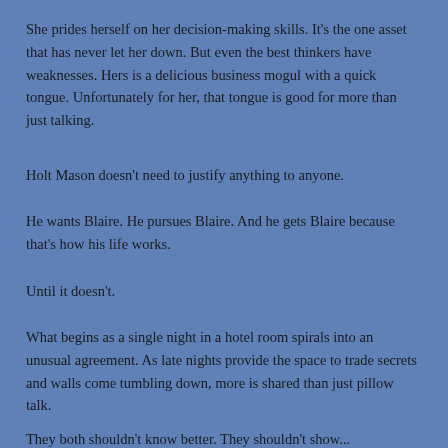She prides herself on her decision-making skills. It's the one asset that has never let her down. But even the best thinkers have weaknesses. Hers is a delicious business mogul with a quick tongue. Unfortunately for her, that tongue is good for more than just talking.
Holt Mason doesn't need to justify anything to anyone.
He wants Blaire. He pursues Blaire. And he gets Blaire because that's how his life works.
Until it doesn't.
What begins as a single night in a hotel room spirals into an unusual agreement. As late nights provide the space to trade secrets and walls come tumbling down, more is shared than just pillow talk.
They both shouldn't know better. They shouldn't show...